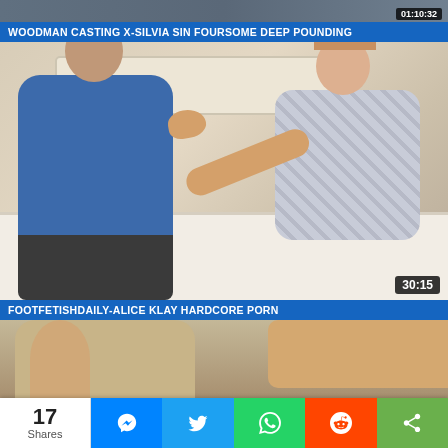[Figure (screenshot): Top partial video thumbnail strip with timestamp badge showing 01:10:32]
WOODMAN CASTING X-SILVIA SIN FOURSOME DEEP POUNDING
[Figure (screenshot): Video thumbnail showing two people on a bed, duration badge 30:15]
FOOTFETISHDAILY-ALICE KLAY HARDCORE PORN
[Figure (screenshot): Partial third video thumbnail]
17 Shares